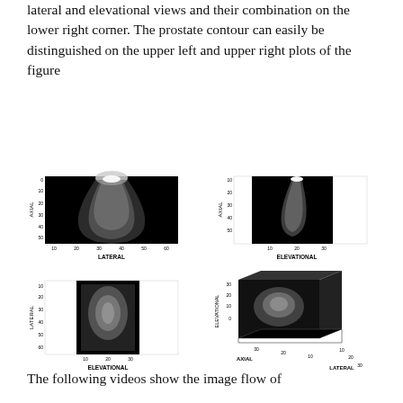lateral and elevational views and their combination on the lower right corner. The prostate contour can easily be distinguished on the upper left and upper right plots of the figure
[Figure (other): Ultrasound image in axial vs lateral view (2D plot), black background with fan-shaped ultrasound image. Axes labeled AXIAL (y) and LATERAL (x) with tick marks.]
[Figure (other): Ultrasound image in axial vs elevational view (2D plot), black and white background with rectangular ultrasound image. Axes labeled AXIAL (y) and ELEVATIONAL (x) with tick marks.]
[Figure (other): Ultrasound image in lateral vs elevational view (2D plot), white background with tall rectangular ultrasound image. Axes labeled LATERAL (y) and ELEVATIONAL (x) with tick marks.]
[Figure (other): 3D ultrasound image combination plot with elevational, axial, and lateral axes. Shows 3D box with ultrasound image projected on faces. Axes labeled ELEVATIONAL, AXIAL, and LATERAL.]
The following videos show the image flow of